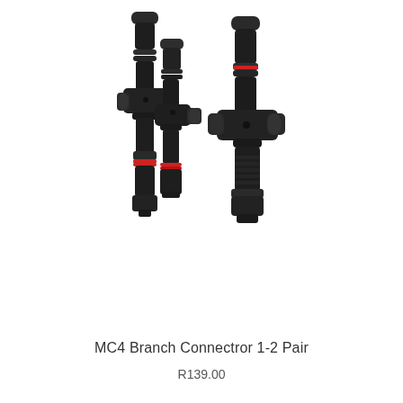[Figure (photo): Two black MC4 branch connector 1-2 pair solar panel connectors shown side by side on white background. Left connector shows the joined pair from a front-angled view with red accent rings visible. Right connector shows the Y-split branch connector from a slightly different angle, both connectors are dark black plastic with cylindrical and rectangular sections.]
MC4 Branch Connectror 1-2 Pair
R139.00